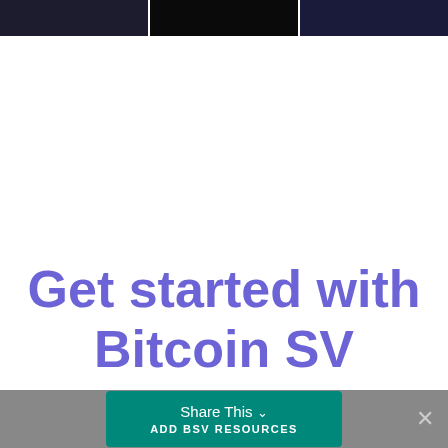[Figure (photo): Three dark screenshot thumbnail images in a row at the top of the page]
Get started with Bitcoin SV
Share This  ADD BSV RESOURCES